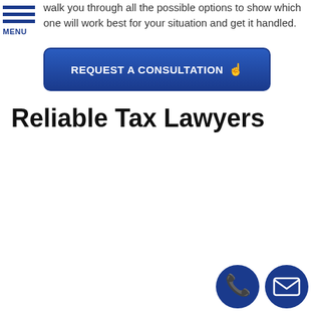walk you through all the possible options to show which one will work best for your situation and get it handled.
[Figure (other): Hamburger menu icon with three blue horizontal lines and MENU label below]
[Figure (other): Blue rounded rectangle button labeled REQUEST A CONSULTATION with a hand/pointer icon]
Reliable Tax Lawyers
[Figure (other): Two circular dark blue icons at bottom right: a phone handset icon and an envelope/email icon]